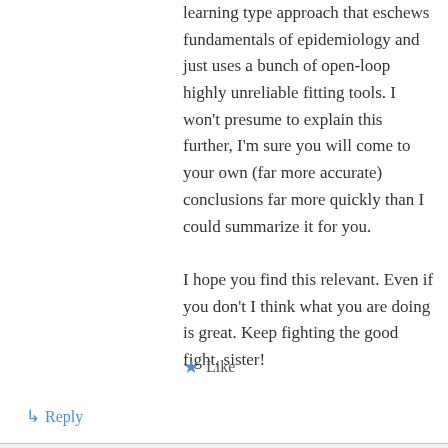learning type approach that eschews fundamentals of epidemiology and just uses a bunch of open-loop highly unreliable fitting tools. I won't presume to explain this further, I'm sure you will come to your own (far more accurate) conclusions far more quickly than I could summarize it for you.

I hope you find this relevant. Even if you don't I think what you are doing is great. Keep fighting the good fight, sister!
★ Like
↳ Reply
MamaPhi on April 8, 2021 at 6:52 am